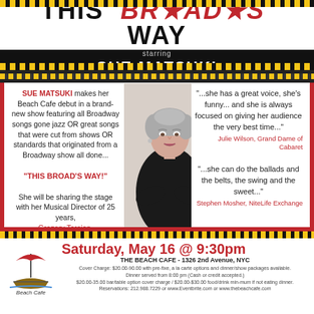THIS BROAD'S WAY starring SUE MATSUKI
SUE MATSUKI makes her Beach Cafe debut in a brand-new show featuring all Broadway songs gone jazz OR great songs that were cut from shows OR standards that originated from a Broadway show all done... "THIS BROAD'S WAY!"
[Figure (photo): Photo of Sue Matsuki in black top with arms crossed]
"...she has a great voice, she's funny... and she is always focused on giving her audience the very best time..."
Julie Wilson, Grand Dame of Cabaret
She will be sharing the stage with her Musical Director of 25 years, Gregory Toroian.
"...she can do the ballads and the belts, the swing and the sweet..."
Stephen Mosher, NiteLife Exchange
[Figure (logo): Beach Cafe logo with umbrella and boat]
Saturday, May 16 @ 9:30pm
THE BEACH CAFE - 1326 2nd Avenue, NYC
Cover Charge: $20.00-90.00 with pre-fixe, a la carte options and dinner/show packages available. Dinner served from 8:00 pm (Cash or credit accepted.) $20.00-35.00 bar/table option cover charge / $20.00-$30.00 food/drink minimum if not eating dinner. Reservations: 212.988.7229 or www.Eventbrite.com or www.thebeachcafe.com